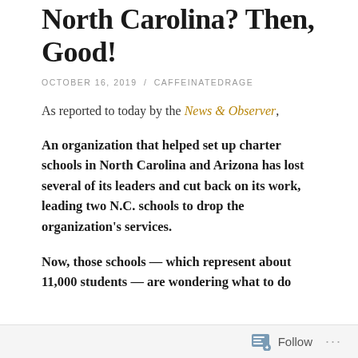North Carolina? Then, Good!
OCTOBER 16, 2019 / CAFFEINATEDRAGE
As reported to today by the News & Observer,
An organization that helped set up charter schools in North Carolina and Arizona has lost several of its leaders and cut back on its work, leading two N.C. schools to drop the organization's services.
Now, those schools — which represent about 11,000 students — are wondering what to do
Follow ...